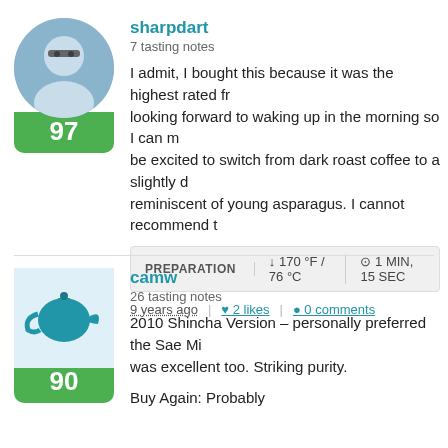sharpdart
7 tasting notes
I admit, I bought this because it was the highest rated fr... looking forward to waking up in the morning so I can m... be excited to switch from dark roast coffee to a slightly d... reminiscent of young asparagus. I cannot recommend t...
PREPARATION  ↓170 °F / 76 °C  ⊙ 1 MIN, 15 SEC
9 years ago  |  ♥ 2 likes  |  ● 0 comments
camw
26 tasting notes
2010 Shincha Version – personally preferred the Sae Mi... was excellent too. Striking purity.
Buy Again: Probably